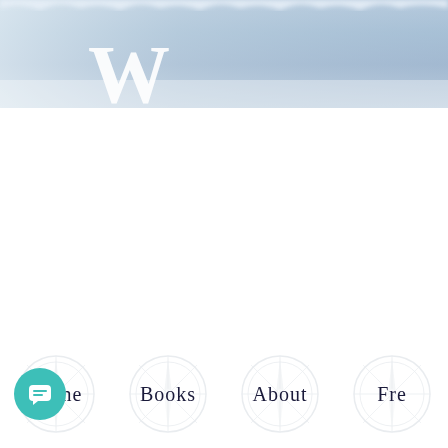[Figure (illustration): Website header banner with blue-grey cloudy/misty sky gradient background and a large decorative white serif letter W (partial) in the lower-left area of the banner]
Home   Books   About   Fre...
[Figure (other): Teal circular chat/message button with white speech bubble icon in bottom-left corner]